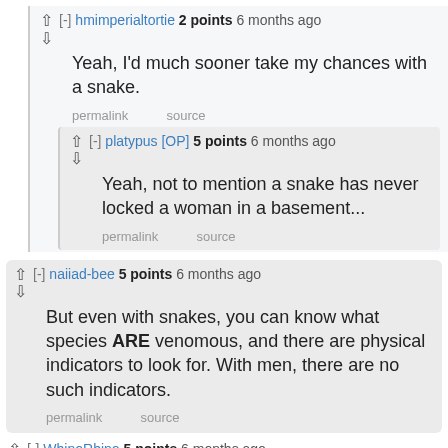hmimperialtortie 2 points 6 months ago
Yeah, I'd much sooner take my chances with a snake.
permalink   source
platypus [OP] 5 points 6 months ago
Yeah, not to mention a snake has never locked a woman in a basement...
permalink   source
naiiad-bee 5 points 6 months ago
But even with snakes, you can know what species ARE venomous, and there are physical indicators to look for. With men, there are no such indicators.
permalink   source
WhinoRhino 5 points 6 months ago
Snake owner here. I hug snakes all the time. Men, not so much.